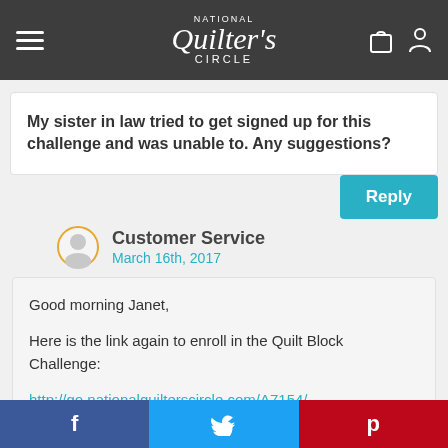National Quilters Circle
My sister in law tried to get signed up for this challenge and was unable to. Any suggestions?
Reply
Customer Service
March 16th, 2017
Good morning Janet,

Here is the link again to enroll in the Quilt Block Challenge:

http://go.nationalquilterscircle.com/A7154/
f  Twitter  p